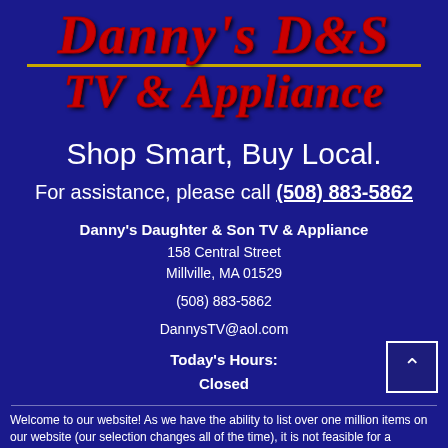[Figure (logo): Danny's D&S TV & Appliance logo with red italic script text on dark blue background, gold horizontal rule divider]
Shop Smart, Buy Local.
For assistance, please call (508) 883-5862
Danny's Daughter & Son TV & Appliance
158 Central Street
Millville, MA 01529

(508) 883-5862

DannysTV@aol.com

Today's Hours:
Closed
Welcome to our website! As we have the ability to list over one million items on our website (our selection changes all of the time), it is not feasible for a